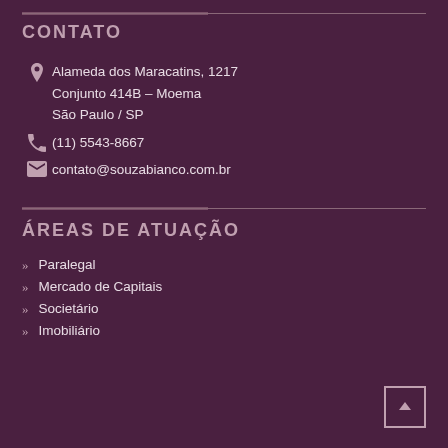CONTATO
Alameda dos Maracatins, 1217
Conjunto 414B – Moema
São Paulo / SP
(11) 5543-8667
contato@souzabianco.com.br
ÁREAS DE ATUAÇÃO
Paralegal
Mercado de Capitais
Societário
Imobiliário